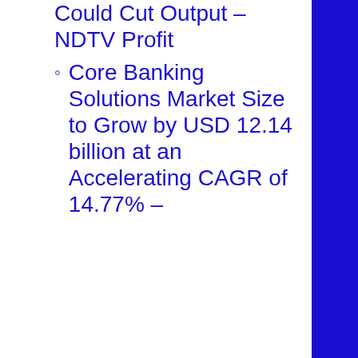Could Cut Output – NDTV Profit
Core Banking Solutions Market Size to Grow by USD 12.14 billion at an Accelerating CAGR of 14.77% –